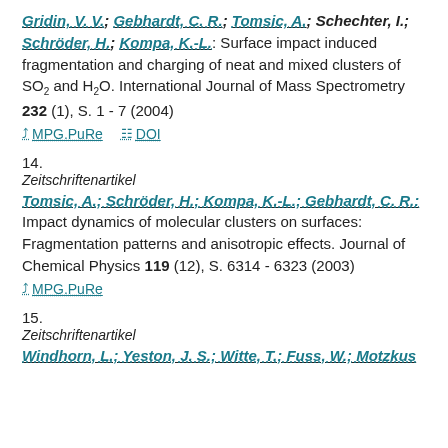Gridin, V. V.; Gebhardt, C. R.; Tomsic, A.; Schechter, I.; Schröder, H.; Kompa, K.-L.: Surface impact induced fragmentation and charging of neat and mixed clusters of SO2 and H2O. International Journal of Mass Spectrometry 232 (1), S. 1 - 7 (2004)
MPG.PuRe   DOI
14.
Zeitschriftenartikel
Tomsic, A.; Schröder, H.; Kompa, K.-L.; Gebhardt, C. R.: Impact dynamics of molecular clusters on surfaces: Fragmentation patterns and anisotropic effects. Journal of Chemical Physics 119 (12), S. 6314 - 6323 (2003)
MPG.PuRe
15.
Zeitschriftenartikel
Windhorn, L.; Yeston, J. S.; Witte, T.; Fuss, W.; Motzkus